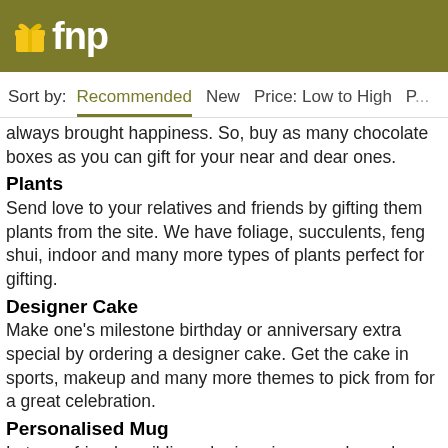fnp
Sort by:   Recommended   New   Price: Low to High   P...
always brought happiness. So, buy as many chocolate boxes as you can gift for your near and dear ones.
Plants
Send love to your relatives and friends by gifting them plants from the site. We have foliage, succulents, feng shui, indoor and many more types of plants perfect for gifting.
Designer Cake
Make one's milestone birthday or anniversary extra special by ordering a designer cake. Get the cake in sports, makeup and many more themes to pick from for a great celebration.
Personalised Mug
Let your friend or sibling who is going away know how much you will miss them by giving a personalised mug. Get a hilarious picture or an inspiring quote printed on the mug.
Floral Vase
A...